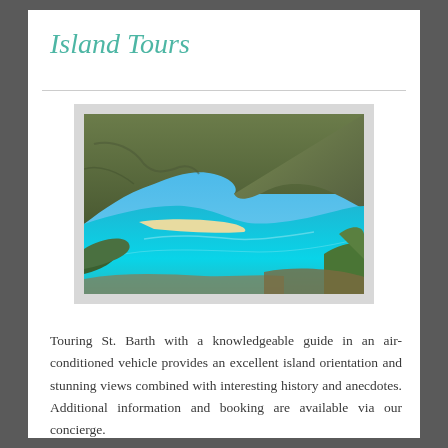Island Tours
[Figure (photo): Aerial view of a Caribbean bay with turquoise water, sandy beach, green rocky hillsides, and blue sky with clouds — likely St. Barth island.]
Touring St. Barth with a knowledgeable guide in an air-conditioned vehicle provides an excellent island orientation and stunning views combined with interesting history and anecdotes. Additional information and booking are available via our concierge.